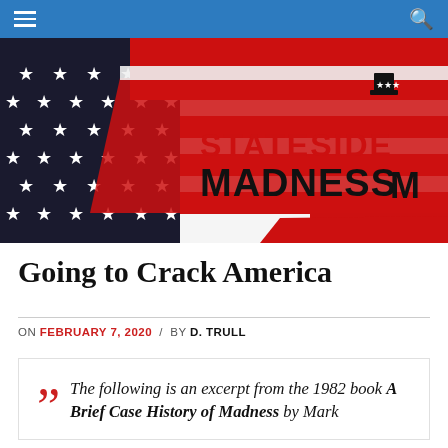Stateside Madness (navigation bar)
[Figure (logo): Stateside Madness logo on an American flag background with red stripes and a blue star field. Bold black and red text reads STATESIDE MADNESS with a stylized Uncle Sam hat icon and a figure icon.]
Going to Crack America
ON FEBRUARY 7, 2020 / BY D. TRULL
The following is an excerpt from the 1982 book A Brief Case History of Madness by Mark